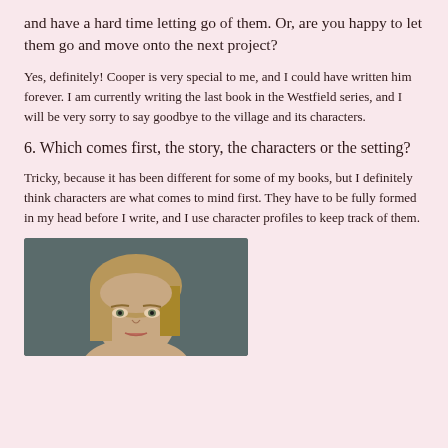and have a hard time letting go of them. Or, are you happy to let them go and move onto the next project?
Yes, definitely! Cooper is very special to me, and I could have written him forever. I am currently writing the last book in the Westfield series, and I will be very sorry to say goodbye to the village and its characters.
6. Which comes first, the story, the characters or the setting?
Tricky, because it has been different for some of my books, but I definitely think characters are what comes to mind first. They have to be fully formed in my head before I write, and I use character profiles to keep track of them.
[Figure (photo): Portrait photo of a woman with blonde hair against a dark teal/grey background]